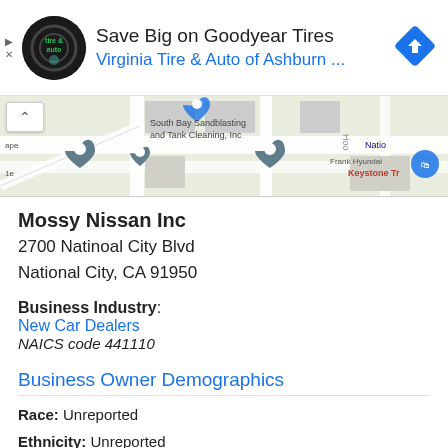[Figure (screenshot): Advertisement banner: 'Save Big on Goodyear Tires / Virginia Tire & Auto of Ashburn ...' with logo and blue diamond navigation icon]
[Figure (map): Google Maps snippet showing South Bay Sandblasting and Tank Cleaning Inc, Frank Hyundai, Keystone Tr, and other local businesses]
Mossy Nissan Inc
2700 Natinoal City Blvd
National City, CA 91950
Business Industry: New Car Dealers
NAICS code 441110
Business Owner Demographics
Race: Unreported
Ethnicity: Unreported